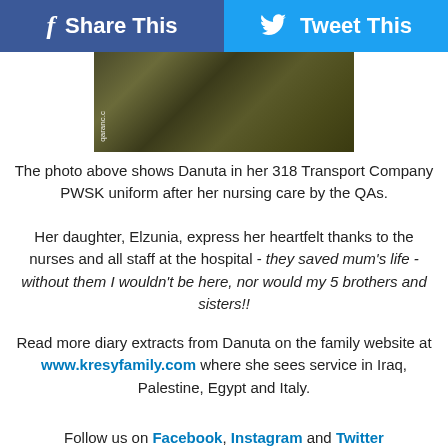Share This   Tweet This
[Figure (photo): Partial photograph of Danuta in her 318 Transport Company PWSK uniform, showing fabric/clothing texture with watermark 'qaranc.c']
The photo above shows Danuta in her 318 Transport Company PWSK uniform after her nursing care by the QAs.
Her daughter, Elzunia, express her heartfelt thanks to the nurses and all staff at the hospital - they saved mum's life - without them I wouldn't be here, nor would my 5 brothers and sisters!!
Read more diary extracts from Danuta on the family website at www.kresyfamily.com where she sees service in Iraq, Palestine, Egypt and Italy.
Follow us on Facebook, Instagram and Twitter